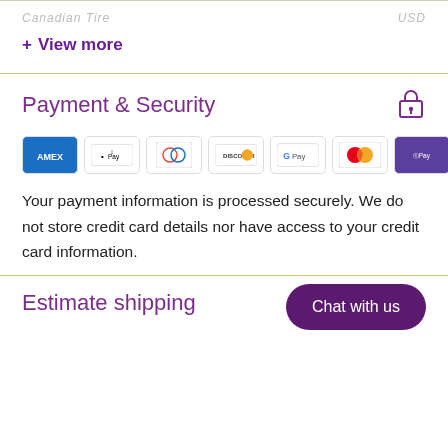Canadian Tire   USD
+ View more
Payment & Security
[Figure (other): Payment method logos: Amex, Apple Pay, Diners Club, Discover, Google Pay, Mastercard, Shop Pay, Visa]
Your payment information is processed securely. We do not store credit card details nor have access to your credit card information.
Estimate shipping
Chat with us